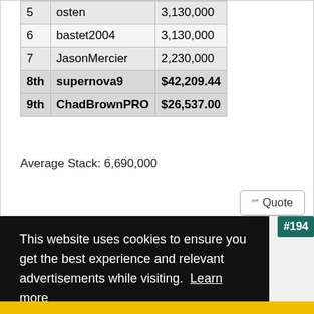| # | Player | Amount |
| --- | --- | --- |
| 5 | osten | 3,130,000 |
| 6 | bastet2004 | 3,130,000 |
| 7 | JasonMercier | 2,230,000 |
| 8th | supernova9 | $42,209.44 |
| 9th | ChadBrownPRO | $26,537.00 |
Average Stack: 6,690,000
This website uses cookies to ensure you get the best experience and relevant advertisements while visiting. Learn more
Got it!